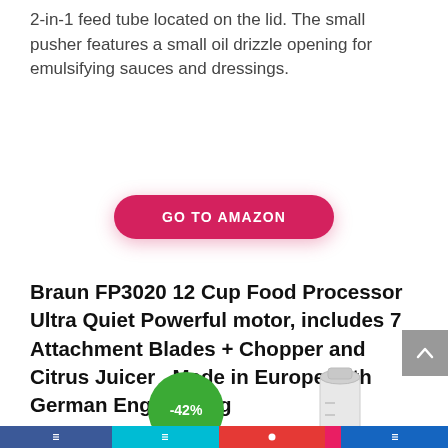2-in-1 feed tube located on the lid. The small pusher features a small oil drizzle opening for emulsifying sauces and dressings.
[Figure (other): GO TO AMAZON button — a crimson/pink pill-shaped call-to-action button with white bold uppercase text]
Braun FP3020 12 Cup Food Processor Ultra Quiet Powerful motor, includes 7 Attachment Blades + Chopper and Citrus Juicer , Made in Europe with German Engineering
[Figure (other): Green circular discount badge showing -42%]
[Figure (photo): Product image of a cylindrical measuring cup / kitchen accessory]
Bottom navigation bar with social/share icons